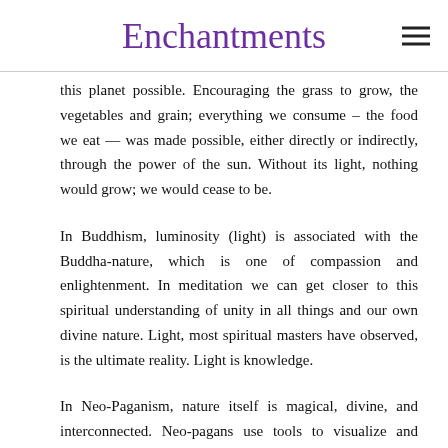Enchantments
this planet possible. Encouraging the grass to grow, the vegetables and grain; everything we consume – the food we eat — was made possible, either directly or indirectly, through the power of the sun. Without its light, nothing would grow; we would cease to be.
In Buddhism, luminosity (light) is associated with the Buddha-nature, which is one of compassion and enlightenment. In meditation we can get closer to this spiritual understanding of unity in all things and our own divine nature. Light, most spiritual masters have observed, is the ultimate reality. Light is knowledge.
In Neo-Paganism, nature itself is magical, divine, and interconnected. Neo-pagans use tools to visualize and manifest energy, often with light as a central focus. Some believe forms or energy lift beyond the…